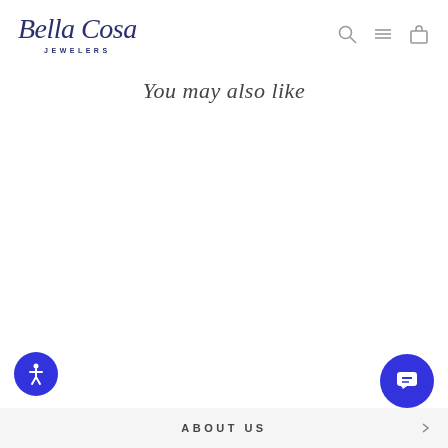Bella Cosa Jewelers
You may also like
ABOUT US